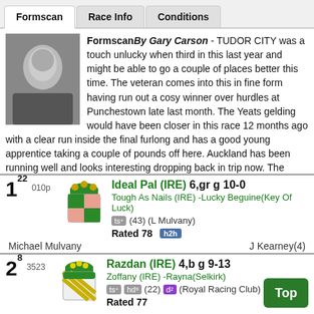Formscan | Race Info | Conditions
FormscanBy Gary Carson - TUDOR CITY was a touch unlucky when third in this last year and might be able to go a couple of places better this time. The veteran comes into this in fine form having run out a cosy winner over hurdles at Punchestown late last month. The Yeats gelding would have been closer in this race 12 months ago with a clear run inside the final furlong and has a good young apprentice taking a couple of pounds off here. Auckland has been running well and looks interesting dropping back in trip now. The Jukebox Jury gelding won over hurdles at Killarney last month and didn't quite see things out over three furlongs further last time in Leopardstown. Na Caith Tobac has been in great form over fences and is another that has to be respected off a lowly enough mark back on the level
1^22 010p Ideal Pal (IRE) 6,gr g 10-0 | Tough As Nails (IRE) -Lucky Beguine(Key Of Luck) | ts+ (43) (L Mulvany) | Rated 78 h2h | Michael Mulvany | J Kearney(4)
2^8 3523 Razdan (IRE) 4,b g 9-13 | Zoffany (IRE) -Rayna(Selkirk) | ts+ hd9 (22) d2 (Royal Racing Club) | Rated 77